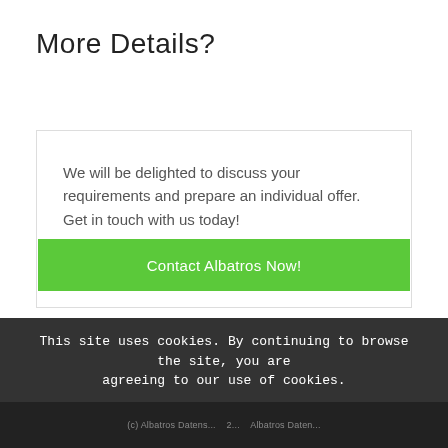More Details?
We will be delighted to discuss your requirements and prepare an individual offer. Get in touch with us today!
Contact Albatros Now!
This site uses cookies. By continuing to browse the site, you are agreeing to our use of cookies.
OK
Learn more
(c) Albatros Datens... 2... Albatros Daten...